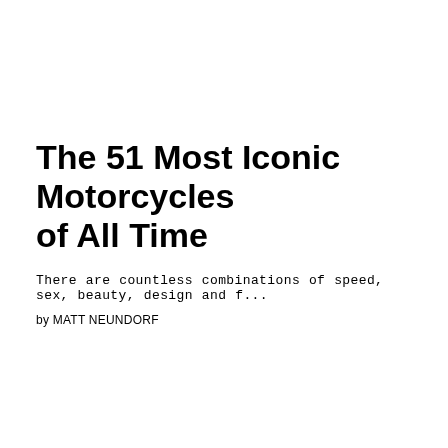The 51 Most Iconic Motorcycles of All Time
There are countless combinations of speed, sex, beauty, design and f…
by MATT NEUNDORF